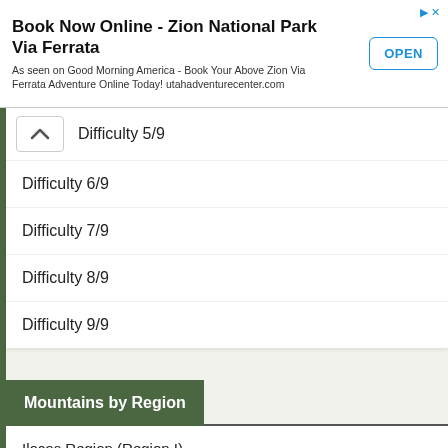[Figure (screenshot): Advertisement banner for Book Now Online - Zion National Park Via Ferrata with OPEN button]
Book Now Online - Zion National Park Via Ferrata
As seen on Good Morning America - Book Your Above Zion Via Ferrata Adventure Online Today! utahadventurecenter.com
Difficulty 5/9
Difficulty 6/9
Difficulty 7/9
Difficulty 8/9
Difficulty 9/9
Mountains by Region
Ilocos Region (Region I)
The Cordilleras (CAR)
Cagayan Valley (Region II)
Central Luzon (Region III)